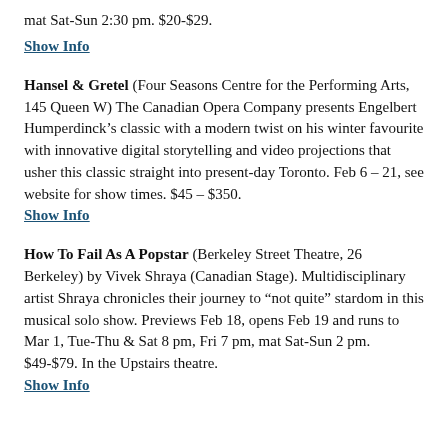mat Sat-Sun 2:30 pm. $20-$29.
Show Info
Hansel & Gretel (Four Seasons Centre for the Performing Arts, 145 Queen W) The Canadian Opera Company presents Engelbert Humperdinck’s classic with a modern twist on his winter favourite with innovative digital storytelling and video projections that usher this classic straight into present-day Toronto. Feb 6 – 21, see website for show times. $45 – $350.
Show Info
How To Fail As A Popstar (Berkeley Street Theatre, 26 Berkeley) by Vivek Shraya (Canadian Stage). Multidisciplinary artist Shraya chronicles their journey to “not quite” stardom in this musical solo show. Previews Feb 18, opens Feb 19 and runs to Mar 1, Tue-Thu & Sat 8 pm, Fri 7 pm, mat Sat-Sun 2 pm. $49-$79. In the Upstairs theatre.
Show Info